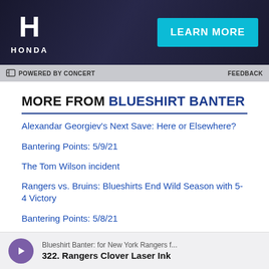[Figure (screenshot): Honda advertisement banner with Honda H logo on left and 'LEARN MORE' button in teal/cyan on dark background]
POWERED BY CONCERT    FEEDBACK
MORE FROM BLUESHIRT BANTER
Alexandar Georgiev's Next Save: Here or Elsewhere?
Bantering Points: 5/9/21
The Tom Wilson incident
Rangers vs. Bruins: Blueshirts End Wild Season with 5-4 Victory
Bantering Points: 5/8/21
Rangers Release Statement Regarding NHL Department of Player Safety's Decision to Not Suspend Tom Wilson
Blueshirt Banter: for New York Rangers f...  322. Rangers Clover Laser Ink